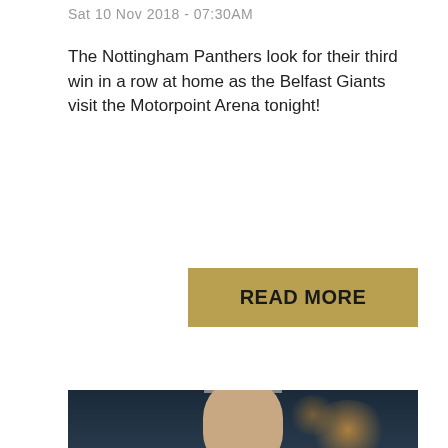Sat 10 Nov 2018 - 07:30AM
The Nottingham Panthers look for their third win in a row at home as the Belfast Giants visit the Motorpoint Arena tonight!
[Figure (photo): Man in black suit with black tie and red poppy lapel pin, standing in front of a blurred ice hockey arena background with orange scoreboard lights. He appears to be a coach or official looking upward.]